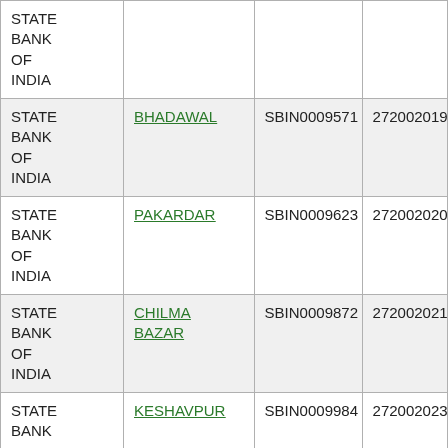| Bank | Branch | IFSC | MICR |
| --- | --- | --- | --- |
| STATE BANK OF INDIA |  |  |  |
| STATE BANK OF INDIA | BHADAWAL | SBIN0009571 | 272002019 |
| STATE BANK OF INDIA | PAKARDAR | SBIN0009623 | 272002020 |
| STATE BANK OF INDIA | CHILMA BAZAR | SBIN0009872 | 272002021 |
| STATE BANK OF INDIA | KESHAVPUR | SBIN0009984 | 272002023 |